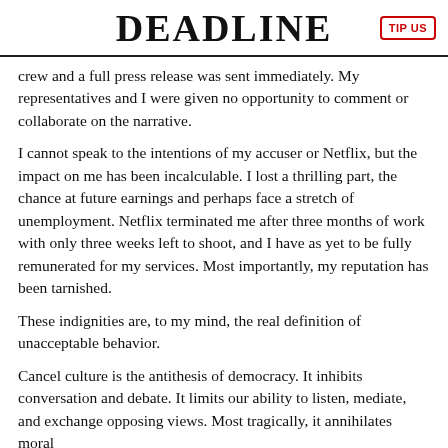DEADLINE
crew and a full press release was sent immediately. My representatives and I were given no opportunity to comment or collaborate on the narrative.
I cannot speak to the intentions of my accuser or Netflix, but the impact on me has been incalculable. I lost a thrilling part, the chance at future earnings and perhaps face a stretch of unemployment. Netflix terminated me after three months of work with only three weeks left to shoot, and I have as yet to be fully remunerated for my services. Most importantly, my reputation has been tarnished.
These indignities are, to my mind, the real definition of unacceptable behavior.
Cancel culture is the antithesis of democracy. It inhibits conversation and debate. It limits our ability to listen, mediate, and exchange opposing views. Most tragically, it annihilates moral